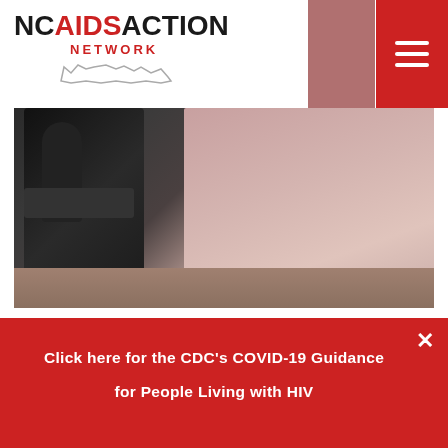[Figure (logo): NC AIDS Action Network logo with red NC state outline shape, black and red text]
[Figure (photo): Person in pink shirt sitting at a microphone in a recording studio, hands clasped on desk, dark acoustic panels in background]
Thrilling Week for HIV Advocacy in NC!
The General Assembly is wrapping up their work
Click here for the CDC's COVID-19 Guidance for People Living with HIV